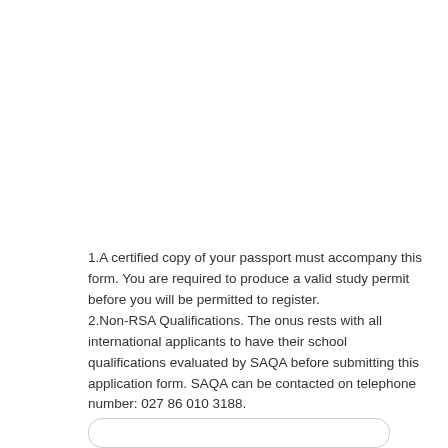1.A certified copy of your passport must accompany this form. You are required to produce a valid study permit before you will be permitted to register.
2.Non-RSA Qualifications. The onus rests with all international applicants to have their school qualifications evaluated by SAQA before submitting this application form. SAQA can be contacted on telephone number: 027 86 010 3188.